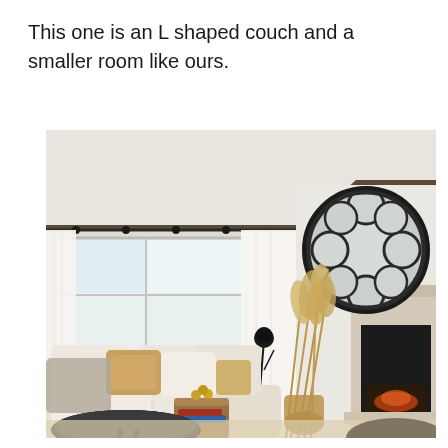This one is an L shaped couch and a smaller room like ours.
[Figure (photo): Interior living room photo showing an L-shaped cream/white sectional couch with tan and beige throw pillows, a wooden coffee table with decorative items, a large circular decorative mirror with bubble/petal pattern on the wall above a stone fireplace, dried pampas grass in a corner, white curtains on a window with a dark curtain rod, and a tray table in the foreground. The room has a tray ceiling with a dark accent stripe.]